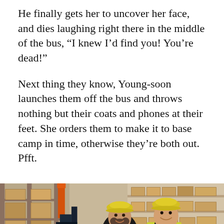He finally gets her to uncover her face, and dies laughing right there in the middle of the bus, “I knew I’d find you! You’re dead!”
Next thing they know, Young-soon launches them off the bus and throws nothing but their coats and phones at their feet. She orders them to make it to base camp in time, otherwise they’re both out. Pfft.
[Figure (photo): Two men wearing yellow hard hats smiling in a warehouse with shelving racks and cardboard boxes. One man wears a yellow safety vest.]